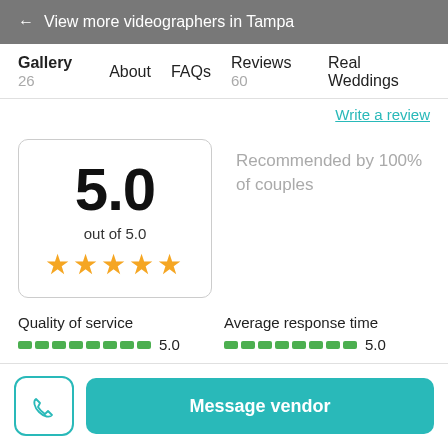← View more videographers in Tampa
Gallery 26   About   FAQs   Reviews 60   Real Weddings
Write a review
5.0
out of 5.0
★★★★★
Recommended by 100% of couples
Quality of service
5.0
Average response time
5.0
Message vendor